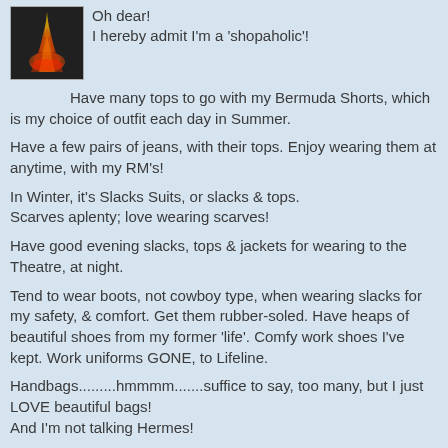[Figure (photo): Small avatar image showing a volcanic eruption or fire scene with dark background]
Oh dear!
I hereby admit I'm a 'shopaholic'!
Have many tops to go with my Bermuda Shorts, which is my choice of outfit each day in Summer.
Have a few pairs of jeans, with their tops. Enjoy wearing them at anytime, with my RM's!
In Winter, it's Slacks Suits, or slacks & tops.
Scarves aplenty; love wearing scarves!
Have good evening slacks, tops & jackets for wearing to the Theatre, at night.
Tend to wear boots, not cowboy type, when wearing slacks for my safety, & comfort. Get them rubber-soled. Have heaps of beautiful shoes from my former 'life'. Comfy work shoes I've kept. Work uniforms GONE, to Lifeline.
Handbags.........hmmmm.......suffice to say, too many, but I just LOVE beautiful bags!
And I'm not talking Hermes!
by donjo